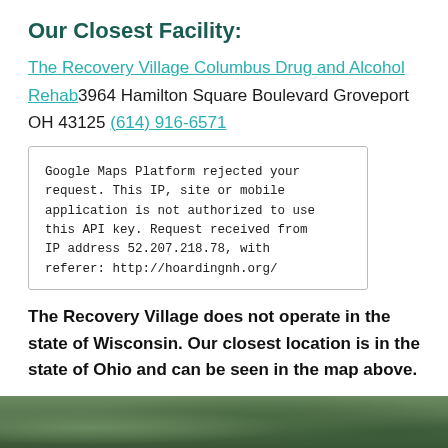Our Closest Facility:
The Recovery Village Columbus Drug and Alcohol Rehab3964 Hamilton Square Boulevard Groveport OH 43125 (614) 916-6571
[Figure (other): Google Maps error box: Google Maps Platform rejected your request. This IP, site or mobile application is not authorized to use this API key. Request received from IP address 52.207.218.78, with referer: http://hoardingnh.org/]
The Recovery Village does not operate in the state of Wisconsin. Our closest location is in the state of Ohio and can be seen in the map above.
[Figure (photo): Partial photo strip at bottom showing green foliage/trees]